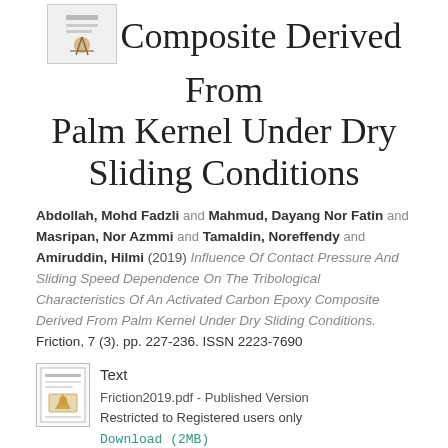Composite Derived From Palm Kernel Under Dry Sliding Conditions
Abdollah, Mohd Fadzli and Mahmud, Dayang Nor Fatin and Masripan, Nor Azmmi and Tamaldin, Noreffendy and Amiruddin, Hilmi (2019) Influence Of Contact Pressure And Sliding Speed Dependence On The Tribological Characteristics Of An Activated Carbon Epoxy Composite Derived From Palm Kernel Under Dry Sliding Conditions. Friction, 7 (3). pp. 227-236. ISSN 2223-7690
[Figure (other): File icon for PDF document]
Text
Friction2019.pdf - Published Version
Restricted to Registered users only
Download (2MB)
Official URL:
https://link.springer.com/content/pdf/10.1007%3Fs4